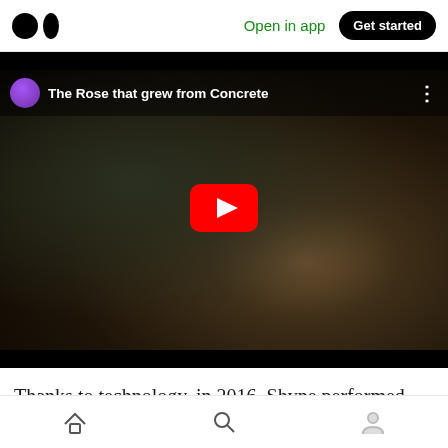Medium logo | Open in app | Get started
[Figure (screenshot): YouTube video embed thumbnail titled 'The Rose that grew from Concrete' showing a man's face against a dark background with a YouTube play button overlay]
Thanks to technology, in 2016, Shyne performed
Home | Search | Profile navigation icons